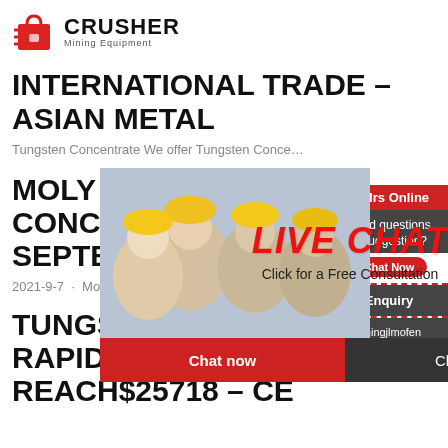[Figure (logo): Crusher Mining Equipment logo with red shopping bag icon and bold black CRUSHER text, Mining Equipment subtitle]
INTERNATIONAL TRADE – ASIAN METAL
Tungsten Concentrate We offer Tungsten Conce…
MOLYBDENUM CONCENTRATE PRICE – SEPTEMBER 8, 2021
2021-9-7 · Molybdenum Concentrate Price – S…
TUNGSTEN PRICE RAISES RAPIDLY, APT PRICE REACH$25718 – CE
[Figure (screenshot): Live chat popup overlay with workers in hard hats photo, LIVE CHAT red italic text, Click for a Free Consultation, Chat now and Chat later buttons, customer service representative photo on right, 24Hrs Online banner at top right, Need questions & suggestion Chat Now button, Enquiry section, limingjlmofen@sina.com email]